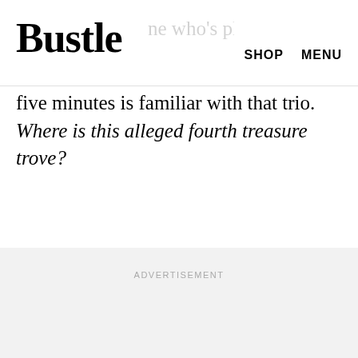Bustle   SHOP   MENU
ne who's played the game more than five minutes is familiar with that trio. Where is this alleged fourth treasure trove?
ADVERTISEMENT